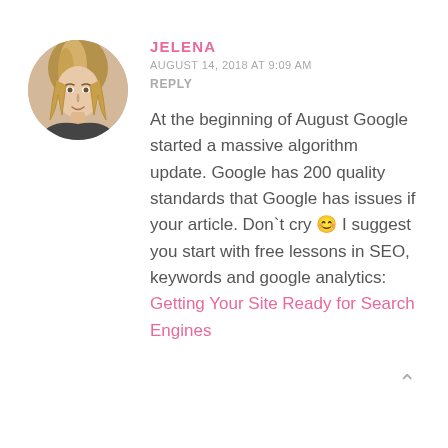[Figure (photo): Circular avatar photo of a young woman with blonde highlighted hair, wearing a dark top, smiling slightly.]
JELENA
AUGUST 14, 2018 AT 9:09 AM
REPLY
At the beginning of August Google started a massive algorithm update. Google has 200 quality standards that Google has issues if your article. Don`t cry 😊 I suggest you start with free lessons in SEO, keywords and google analytics: Getting Your Site Ready for Search Engines